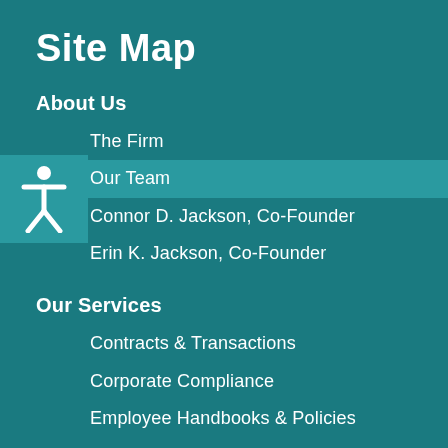Site Map
About Us
The Firm
Our Team
Connor D. Jackson, Co-Founder
Erin K. Jackson, Co-Founder
Our Services
Contracts & Transactions
Corporate Compliance
Employee Handbooks & Policies
General Counsel
HIPAA Compliance